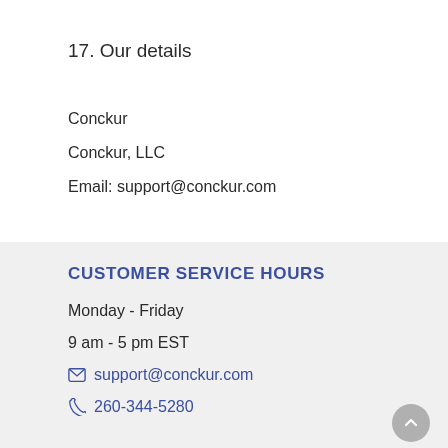17. Our details
Conckur
Conckur, LLC
Email: support@conckur.com
CUSTOMER SERVICE HOURS
Monday - Friday
9 am - 5 pm EST
support@conckur.com
260-344-5280